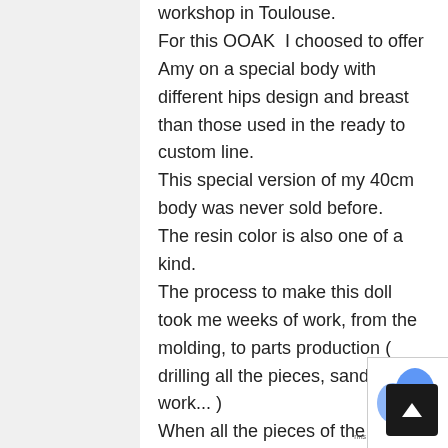workshop in Toulouse.
For this OOAK  I choosed to offer Amy on a special body with different hips design and breast than those used in the ready to custom line.
This special version of my 40cm body was never sold before.
The resin color is also one of a kind.
The process to make this doll took me weeks of work, from the molding, to parts production ( drilling all the pieces, sanding work... )
When all the pieces of the doll are ready smooth and clean then starts the paint work.
I work slowly on this kind of doll because I have to take care of each tinies details, making sure the final